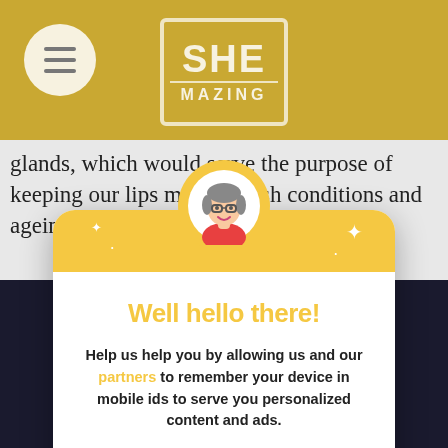[Figure (screenshot): SHEmazing website header with golden/mustard background, hamburger menu circle on left, SHE MAZING logo in center with white border box]
glands, which would serve the purpose of keeping our lips moist. Harsh conditions and ageing are also k
[Figure (screenshot): Consent modal popup with yellow top section, illustrated avatar of a woman with glasses, title 'Well hello there!' in yellow, body text about allowing partners to use mobile ids for personalized content and ads, two green buttons 'I agree!' and 'No thanks.', and a link 'I want more info ▶']